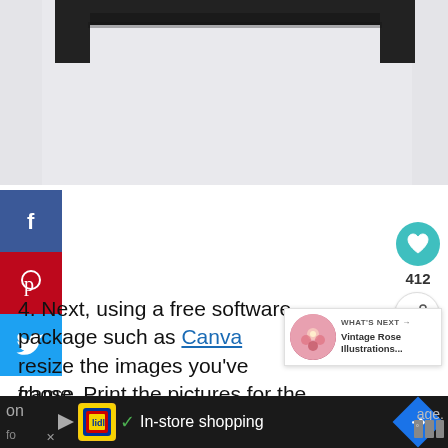[Figure (photo): Photo of a dark picture frame against a white/light gray background, showing the top portion of the frame.]
[Figure (screenshot): Screenshot of a blog/article page showing social sharing sidebar (Facebook, Pinterest, Twitter), a heart/like button with count 412, a share button, a 'What's Next' popup showing 'Vintage Rose Illustrations...' with a floral image, and article text starting with '4. Next, using a free software package such as Canva resize the images you've chose...' and 'frame. Print the pictures for the old picture frames', with a Google Shopping ad bar at the bottom showing 'In-store shopping'.]